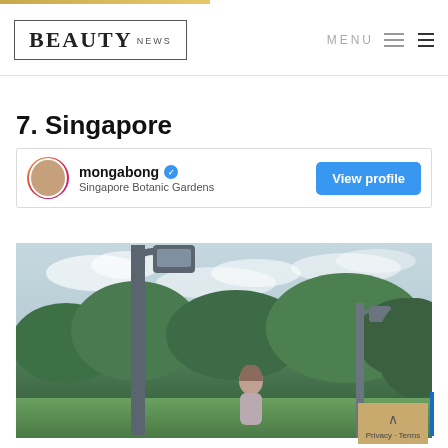BEAUTY NEWS | MENU
7. Singapore
mongabong ✓ | Singapore Botanic Gardens | View profile
[Figure (photo): Instagram post by mongabong at Singapore Botanic Gardens showing a woman standing near a tall ornate lamp post with trees and cloudy sky in the background]
Privacy · Terms